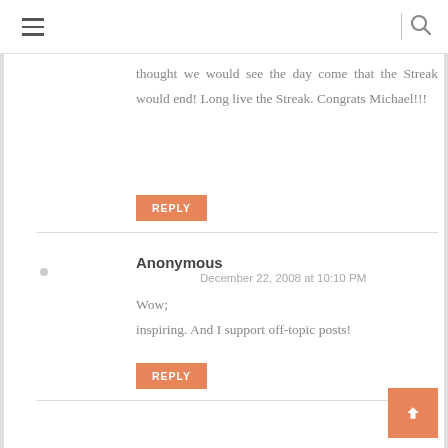thought we would see the day come that the Streak would end! Long live the Streak. Congrats Michael!!!
REPLY
Anonymous
December 22, 2008 at 10:10 PM
Wow; inspiring. And I support off-topic posts!
REPLY